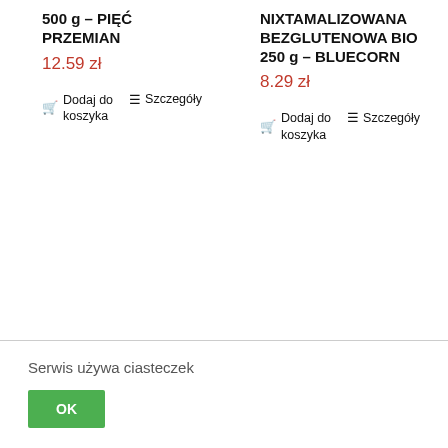500 g – PIĘĆ PRZEMIAN
12.59 zł
Dodaj do koszyka  Szczegóły
NIXTAMALIZOWANA BEZGLUTENOWA BIO 250 g – BLUECORN
8.29 zł
Dodaj do koszyka  Szczegóły
Serwis używa ciasteczek
OK